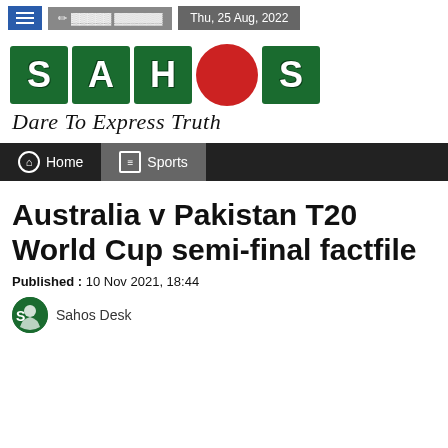Thu, 25 Aug, 2022
[Figure (logo): SAHOS logo with green letter tiles S, A, H, red circle, S and tagline 'Dare To Express Truth']
Home   Sports
Australia v Pakistan T20 World Cup semi-final factfile
Published : 10 Nov 2021, 18:44
Sahos Desk